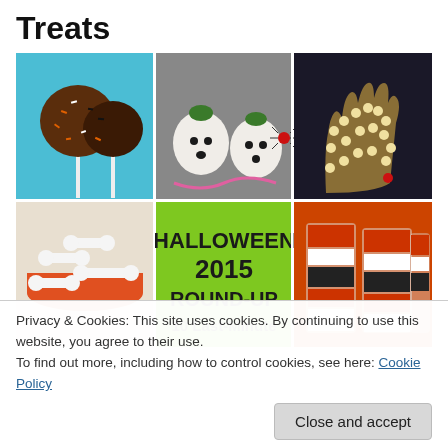Treats
[Figure (photo): A collage of Halloween 2015 food treats: chocolate cake pops with sprinkles, white-chocolate-dipped ghost strawberries, a popcorn hand, bone-shaped marshmallow candy, a green graphic panel reading 'HALLOWEEN 2015 ROUND-UP 10 Last-Minute', and layered Jell-O cups in orange and black.]
Privacy & Cookies: This site uses cookies. By continuing to use this website, you agree to their use.
To find out more, including how to control cookies, see here: Cookie Policy
Close and accept